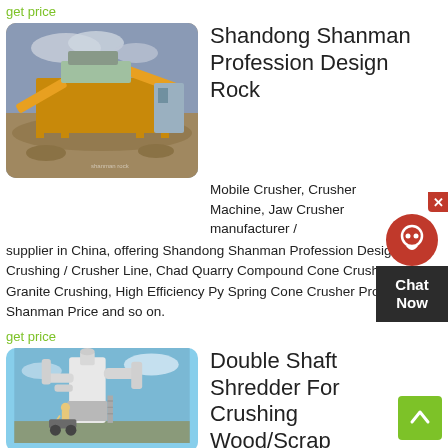get price
[Figure (photo): Rock crushing plant with orange conveyor belts and machinery at a quarry site]
Shandong Shanman Profession Design Rock
Mobile Crusher, Crusher Machine, Jaw Crusher manufacturer / supplier in China, offering Shandong Shanman Profession Design Rock Crushing / Crusher Line, Chad Quarry Compound Cone Crusher for Granite Crushing, High Efficiency Py Spring Cone Crusher Produced by Shanman Price and so on.
get price
[Figure (photo): Industrial double shaft shredder machine — white vertical cylindrical equipment with pipes and ducts against blue sky]
Double Shaft Shredder For Crushing Wood/Scrap